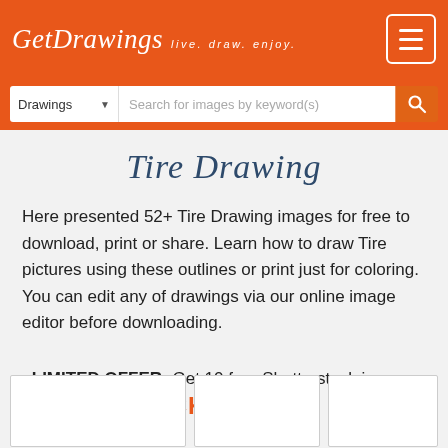GetDrawings  live. draw. enjoy.
Tire Drawing
Here presented 52+ Tire Drawing images for free to download, print or share. Learn how to draw Tire pictures using these outlines or print just for coloring. You can edit any of drawings via our online image editor before downloading.
LIMITED OFFER: Get 10 free Shutterstock images
PICK10FREE
[Figure (other): Three image thumbnail placeholders for tire drawings]
[Figure (other): Second tire drawing thumbnail placeholder]
[Figure (other): Third tire drawing thumbnail placeholder]